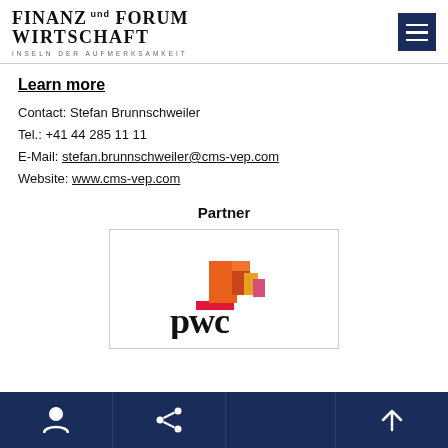FINANZ und WIRTSCHAFT FORUM – INSELN DER AUFMERKSAMKEIT
Learn more
Contact: Stefan Brunnschweiler
Tel.: +41 44 285 11 11
E-Mail: stefan.brunnschweiler@cms-vep.com
Website: www.cms-vep.com
Partner
[Figure (logo): PwC logo with coloured block graphic and 'pwc' wordmark in black]
Navigation footer with user, share, and scroll-up icons